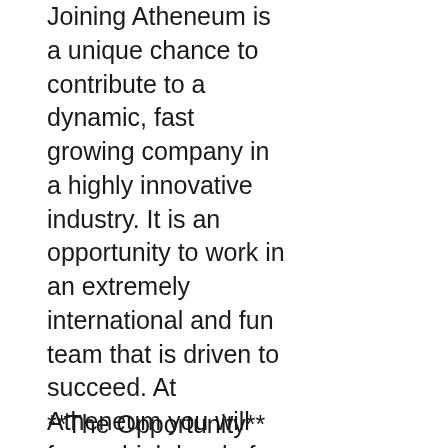Joining Atheneum is a unique chance to contribute to a dynamic, fast growing company in a highly innovative industry. It is an opportunity to work in an extremely international and fun team that is driven to succeed. At Atheneum you will face a high level of responsibility and challenging projects from day one, but you will also have the support from your colleagues and superiors to succeed in your role and grow professionally.
**The Opportunity**